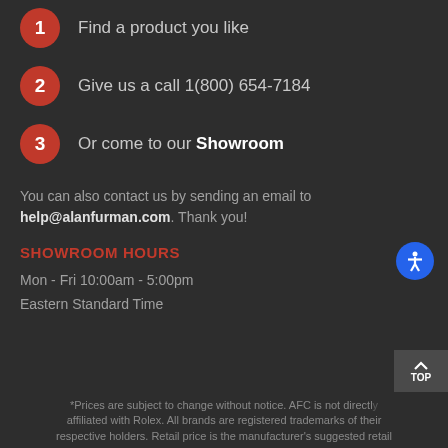1 Find a product you like
2 Give us a call 1(800) 654-7184
3 Or come to our Showroom
You can also contact us by sending an email to help@alanfurman.com. Thank you!
SHOWROOM HOURS
Mon - Fri 10:00am - 5:00pm
Eastern Standard Time
*Prices are subject to change without notice. AFC is not directly affiliated with Rolex. All brands are registered trademarks of their respective holders. Retail price is the manufacturer's suggested retail